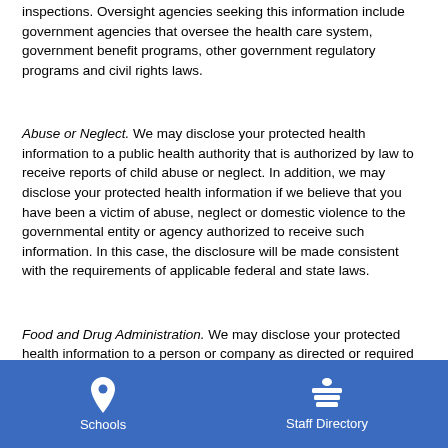inspections. Oversight agencies seeking this information include government agencies that oversee the health care system, government benefit programs, other government regulatory programs and civil rights laws.
Abuse or Neglect. We may disclose your protected health information to a public health authority that is authorized by law to receive reports of child abuse or neglect. In addition, we may disclose your protected health information if we believe that you have been a victim of abuse, neglect or domestic violence to the governmental entity or agency authorized to receive such information. In this case, the disclosure will be made consistent with the requirements of applicable federal and state laws.
Food and Drug Administration. We may disclose your protected health information to a person or company as directed or required by the Food and Drug Administration.
Schools   Staff Directory